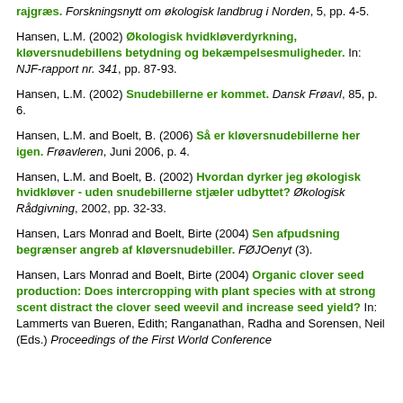rajgræs. Forskningsnytt om økologisk landbrug i Norden, 5, pp. 4-5.
Hansen, L.M. (2002) Økologisk hvidkløverdyrkning, kløversnudebillens betydning og bekæmpelsesmuligheder. In: NJF-rapport nr. 341, pp. 87-93.
Hansen, L.M. (2002) Snudebillerne er kommet. Dansk Frøavl, 85, p. 6.
Hansen, L.M. and Boelt, B. (2006) Så er kløversnudebillerne her igen. Frøavleren, Juni 2006, p. 4.
Hansen, L.M. and Boelt, B. (2002) Hvordan dyrker jeg økologisk hvidkløver - uden snudebillerne stjæler udbyttet? Økologisk Rådgivning, 2002, pp. 32-33.
Hansen, Lars Monrad and Boelt, Birte (2004) Sen afpudsning begrænser angreb af kløversnudebiller. FØJOenyt (3).
Hansen, Lars Monrad and Boelt, Birte (2004) Organic clover seed production: Does intercropping with plant species with at strong scent distract the clover seed weevil and increase seed yield? In: Lammerts van Bueren, Edith; Ranganathan, Radha and Sorensen, Neil (Eds.) Proceedings of the First World Conference